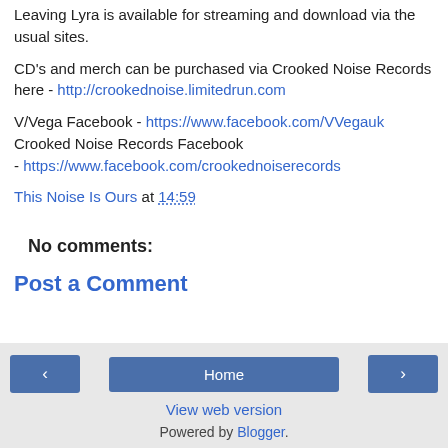Leaving Lyra is available for streaming and download via the usual sites.
CD's and merch can be purchased via Crooked Noise Records here - http://crookednoise.limitedrun.com
V/Vega Facebook - https://www.facebook.com/VVegauk Crooked Noise Records Facebook - https://www.facebook.com/crookednoiserecords
This Noise Is Ours at 14:59
No comments:
Post a Comment
‹  Home  ›  View web version  Powered by Blogger.